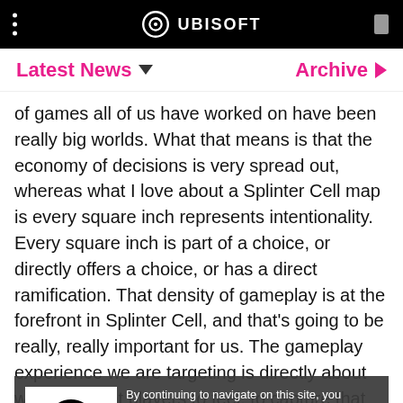UBISOFT
Latest News   Archive
of games all of us have worked on have been really big worlds. What that means is that the economy of decisions is very spread out, whereas what I love about a Splinter Cell map is every square inch represents intentionality. Every square inch is part of a choice, or directly offers a choice, or has a direct ramification. That density of gameplay is at the forefront in Splinter Cell, and that's going to be really, really important for us. The gameplay experience we are targeting is directly about what we want players to feel, to capture that feeling of still playing the original games.
[Figure (screenshot): Cookie consent overlay with Ubisoft logo and text about cookies and partners]
CA: Yeah, and preserving what made those early games so compelling. We recognize a huge part of the